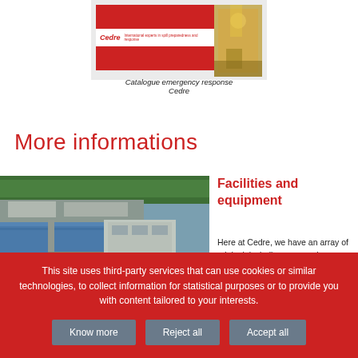[Figure (photo): Cedre emergency response catalogue cover image showing red banner and logo]
Catalogue emergency response Cedre
More informations
[Figure (photo): Aerial photograph of Cedre facilities showing buildings near coastline and harbor]
Facilities and equipment
Here at Cedre, we have an array of original, including some unique, facilities and equipment to carry out our various activities.
This site uses third-party services that can use cookies or similar technologies, to collect information for statistical purposes or to provide you with content tailored to your interests.